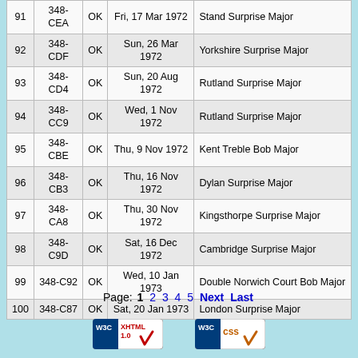| # | ID | Status | Date | Method |
| --- | --- | --- | --- | --- |
| 91 | 348-CEA | OK | Fri, 17 Mar 1972 | Stand Surprise Major |
| 92 | 348-CDF | OK | Sun, 26 Mar 1972 | Yorkshire Surprise Major |
| 93 | 348-CD4 | OK | Sun, 20 Aug 1972 | Rutland Surprise Major |
| 94 | 348-CC9 | OK | Wed, 1 Nov 1972 | Rutland Surprise Major |
| 95 | 348-CBE | OK | Thu, 9 Nov 1972 | Kent Treble Bob Major |
| 96 | 348-CB3 | OK | Thu, 16 Nov 1972 | Dylan Surprise Major |
| 97 | 348-CA8 | OK | Thu, 30 Nov 1972 | Kingsthorpe Surprise Major |
| 98 | 348-C9D | OK | Sat, 16 Dec 1972 | Cambridge Surprise Major |
| 99 | 348-C92 | OK | Wed, 10 Jan 1973 | Double Norwich Court Bob Major |
| 100 | 348-C87 | OK | Sat, 20 Jan 1973 | London Surprise Major |
Page: 1 2 3 4 5 Next Last
[Figure (logo): W3C XHTML 1.0 validation badge]
[Figure (logo): W3C CSS validation badge]